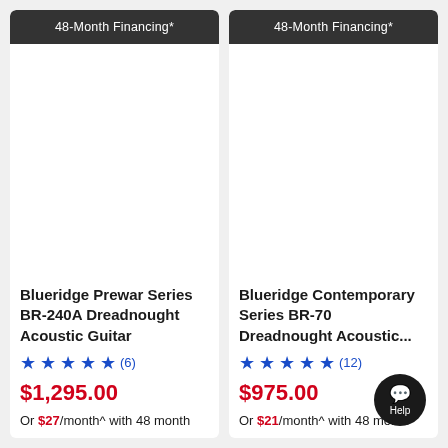48-Month Financing*
[Figure (photo): Product image area for Blueridge Prewar Series BR-240A Dreadnought Acoustic Guitar (blank/white)]
Blueridge Prewar Series BR-240A Dreadnought Acoustic Guitar
★★★★★ (6)
$1,295.00
Or $27/month^ with 48 month
48-Month Financing*
[Figure (photo): Product image area for Blueridge Contemporary Series BR-70 Dreadnought Acoustic Guitar (blank/white)]
Blueridge Contemporary Series BR-70 Dreadnought Acoustic...
★★★★★ (12)
$975.00
Or $21/month^ with 48 month